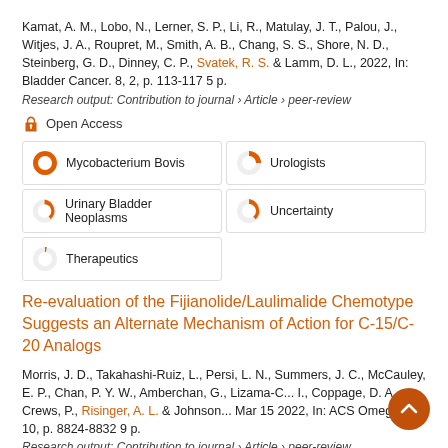Kamat, A. M., Lobo, N., Lerner, S. P., Li, R., Matulay, J. T., Palou, J., Witjes, J. A., Roupret, M., Smith, A. B., Chang, S. S., Shore, N. D., Steinberg, G. D., Dinney, C. P., Svatek, R. S. & Lamm, D. L., 2022, In: Bladder Cancer. 8, 2, p. 113-117 5 p.
Research output: Contribution to journal › Article › peer-review
Open Access
[Figure (infographic): Keyword relevance indicators with pie chart icons: Mycobacterium Bovis (100%), Urologists (~45%), Urinary Bladder Neoplasms (~25%), Uncertainty (~25%), Therapeutics (~8%)]
Re-evaluation of the Fijianolide/Laulimalide Chemotype Suggests an Alternate Mechanism of Action for C-15/C-20 Analogs
Morris, J. D., Takahashi-Ruiz, L., Persi, L. N., Summers, J. C., McCauley, E. P., Chan, P. Y. W., Amberchan, G., Lizama-C... I., Coppage, D. A., Crews, P., Risinger, A. L. & Johnson... Mar 15 2022, In: ACS Omega. 7, 10, p. 8824-8832 9 p.
Research output: Contribution to journal › Article › peer-review